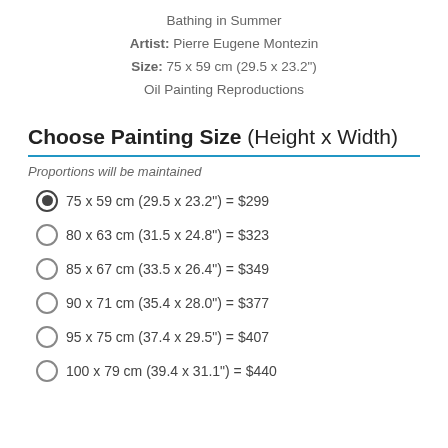Bathing in Summer
Artist: Pierre Eugene Montezin
Size: 75 x 59 cm (29.5 x 23.2")
Oil Painting Reproductions
Choose Painting Size (Height x Width)
Proportions will be maintained
75 x 59 cm (29.5 x 23.2") = $299
80 x 63 cm (31.5 x 24.8") = $323
85 x 67 cm (33.5 x 26.4") = $349
90 x 71 cm (35.4 x 28.0") = $377
95 x 75 cm (37.4 x 29.5") = $407
100 x 79 cm (39.4 x 31.1") = $440